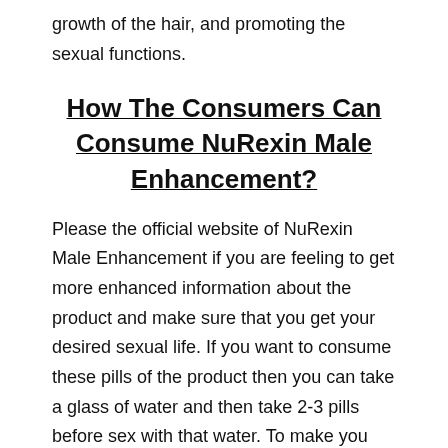growth of the hair, and promoting the sexual functions.
How The Consumers Can Consume NuRexin Male Enhancement?
Please the official website of NuRexin Male Enhancement if you are feeling to get more enhanced information about the product and make sure that you get your desired sexual life. If you want to consume these pills of the product then you can take a glass of water and then take 2-3 pills before sex with that water. To make you feel more